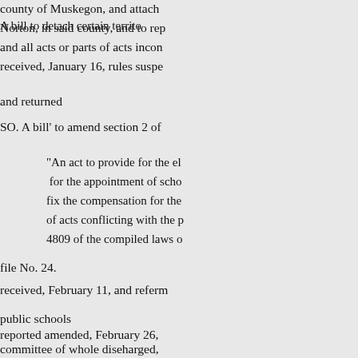777. A bill to detach certain territory from the county of Muskegon, and attach it to the township of Norton, in said county, and to repeal section 1 and all acts or parts of acts inconsistent herewith; received, January 16, rules suspended, and returned
SO. A bill' to amend section 2 of
"An act to provide for the election and for the appointment of school officers, fix the compensation for the same, repeal of acts conflicting with the provisions, 4809 of the compiled laws of
file No. 24.
received, February 11, and referred to
public schools
reported amended, February 26,
committee of whole diseharged,
taken up, March 13, and placed on
considered in committee of the whole
reading
passed, March 13, and returned.